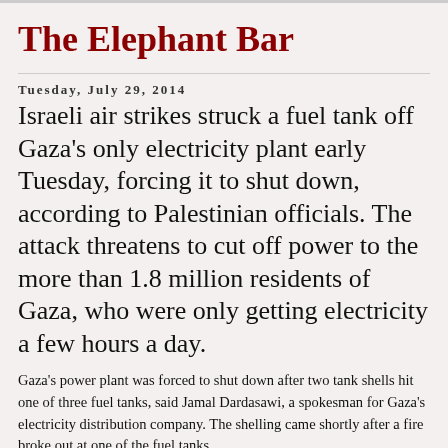The Elephant Bar
Tuesday, July 29, 2014
Israeli air strikes struck a fuel tank off Gaza's only electricity plant early Tuesday, forcing it to shut down, according to Palestinian officials. The attack threatens to cut off power to the more than 1.8 million residents of Gaza, who were only getting electricity a few hours a day.
Gaza's power plant was forced to shut down after two tank shells hit one of three fuel tanks, said Jamal Dardasawi, a spokesman for Gaza's electricity distribution company. The shelling came shortly after a fire broke out at one of the fuel tanks.